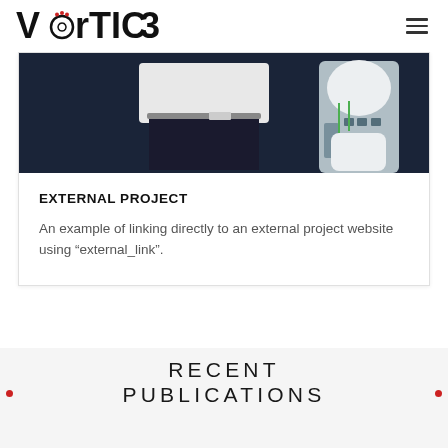VorTICE [logo] [hamburger menu]
[Figure (photo): A person in a white shirt and dark trousers standing next to a white robotic figure with mechanical components visible]
EXTERNAL PROJECT
An example of linking directly to an external project website using “external_link”.
RECENT PUBLICATIONS